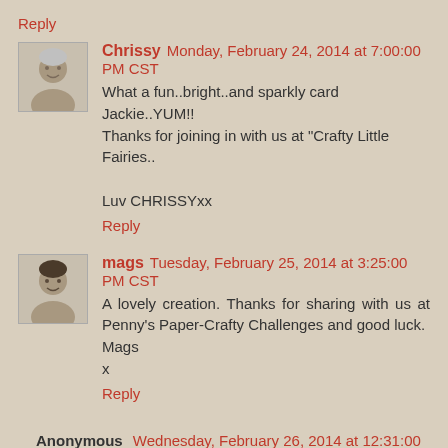Reply
Chrissy Monday, February 24, 2014 at 7:00:00 PM CST
What a fun..bright..and sparkly card Jackie..YUM!! Thanks for joining in with us at "Crafty Little Fairies..

Luv CHRISSYxx
Reply
mags Tuesday, February 25, 2014 at 3:25:00 PM CST
A lovely creation. Thanks for sharing with us at Penny's Paper-Crafty Challenges and good luck.
Mags
x
Reply
Anonymous Wednesday, February 26, 2014 at 12:31:00